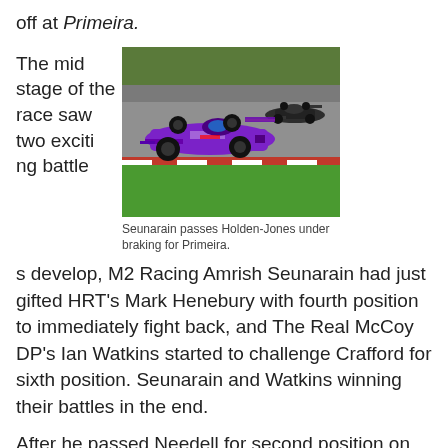off at Primeira.
The mid stage of the race saw two exciting battles develop, M2 Racing Amrish Seunarain had just gifted HRT’s Mark Henebury with fourth position to immediately fight back, and The Real McCoy DP’s Ian Watkins started to challenge Crafford for sixth position. Seunarain and Watkins winning their battles in the end.
[Figure (photo): Two formula racing cars on a race track, a purple car in front followed by a black car, taken at the Primeira corner.]
Seunarain passes Holden-Jones under braking for Primeira.
After he passed Needell for second position on lap 12, James followed Rossouw across the finish line, to